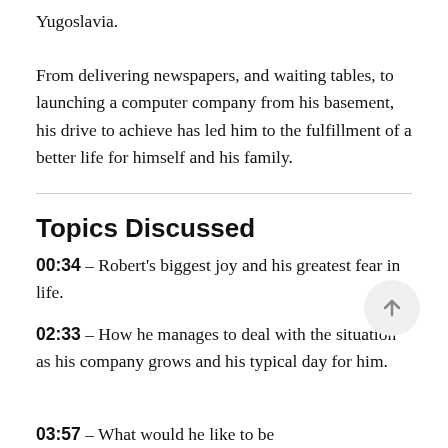Yugoslavia.

From delivering newspapers, and waiting tables, to launching a computer company from his basement, his drive to achieve has led him to the fulfillment of a better life for himself and his family.
Topics Discussed
00:34 – Robert's biggest joy and his greatest fear in life.
02:33 – How he manages to deal with the situation as his company grows and his typical day for him.
03:57 – What would he like to be…